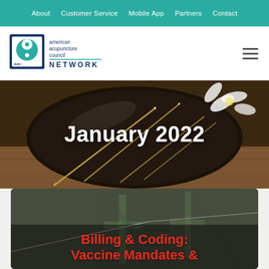About  Customer Service  Mobile App  Partners  Contact
[Figure (logo): American Acupuncture Council Network logo — blue square with stylized 'aac' letters and yin-yang symbol, with 'NETWORK' in blue below]
[Figure (photo): Close-up photo of acupuncture needles on a dark ceramic plate with a white flower, on a wooden surface]
January 2022
[Figure (photo): Close-up photo of an acupuncture needle over an ornate green metal surface with cross/snowflake pattern]
Billing & Coding: Vaccine Mandates &